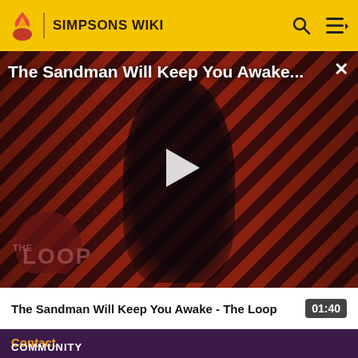SIMPSONS WIKI
[Figure (screenshot): Video player showing 'The Sandman Will Keep You Awake - The Loop' with a person dressed in black on a red and black diagonal striped background with 'THE LOOP' logo visible. A white play button triangle is centered on the video.]
The Sandman Will Keep You Awake - The Loop
01:40
Contact
COMMUNITY